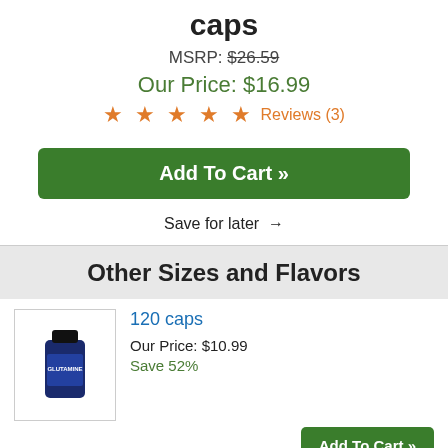caps
MSRP: $26.59
Our Price: $16.99
★ ★ ★ ★ ★ Reviews (3)
Add To Cart »
Save for later →
Other Sizes and Flavors
120 caps
Our Price: $10.99
Save 52%
Add To Cart »
480 caps
Our Price: $34.99